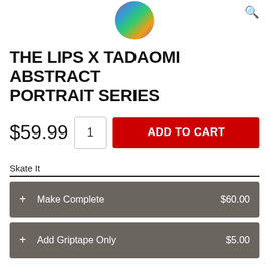[Figure (logo): Circular colorful logo/product image at top center]
THE LIPS X TADAOMI ABSTRACT PORTRAIT SERIES
$59.99  1  ADD TO CART
Skate It
+ Make Complete  $60.00
+ Add Griptape Only  $5.00
Hang It
+ Add Wall Hangers  $15.00